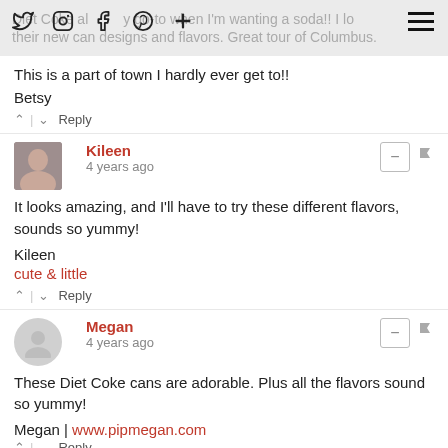Diet Coke always my go-to when I'm wanting a soda!! I love their new can designs and flavors. Great tour of Columbus.
This is a part of town I hardly ever get to!!
Betsy
^ | v  Reply
Kileen
4 years ago
It looks amazing, and I'll have to try these different flavors, sounds so yummy!

Kileen
cute & little
^ | v  Reply
Megan
4 years ago
These Diet Coke cans are adorable. Plus all the flavors sound so yummy!

Megan | www.pipmegan.com
^ | v  Reply